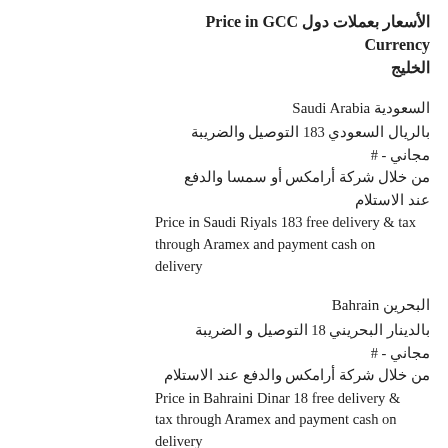الأسعار بعملات دول الخليج Price in GCC Currency
السعودية Saudi Arabia
بالريال السعودي 183 التوصيل والضريبة مجاني - # من خلال شركة أرامكس أو سمسا والدفع عند الاستلام
Price in Saudi Riyals 183 free delivery & tax through Aramex and payment cash on delivery
البحرين Bahrain
بالدينار البحريني 18 التوصيل و الضريبة مجاني - # من خلال شركة أرامكس والدفع عند الاستلام
Price in Bahraini Dinar 18 free delivery & tax through Aramex and payment cash on delivery